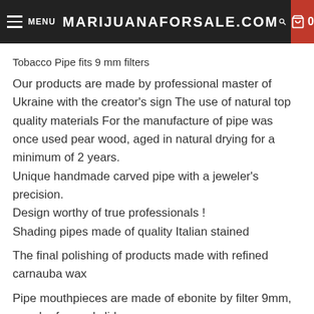MENU  MARIJUANAFORSALE.COM  0
Tobacco Pipe fits 9 mm filters
Our products are made by professional master of Ukraine with the creator's sign The use of natural top quality materials For the manufacture of pipe was once used pear wood, aged in natural drying for a minimum of 2 years.
Unique handmade carved pipe with a jeweler's precision.
Design worthy of true professionals !
Shading pipes made of quality Italian stained
The final polishing of products made with refined carnauba wax
Pipe mouthpieces are made of ebonite by filter 9mm,
or color forward slide